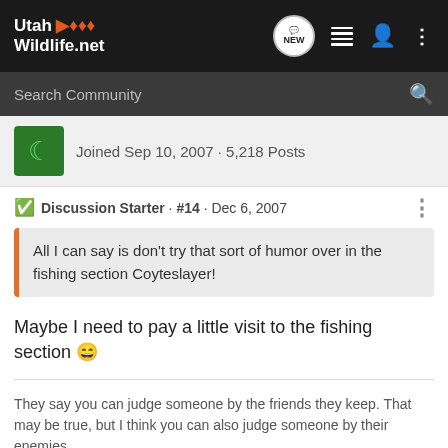[Figure (screenshot): UtahWildlife.net navigation bar with logo, NEW chat button, list icon, person icon, and three-dot menu]
[Figure (screenshot): Search Community search bar with magnifying glass icon]
Joined Sep 10, 2007 · 5,218 Posts
Discussion Starter · #14 · Dec 6, 2007
All I can say is don't try that sort of humor over in the fishing section Coyteslayer!
Maybe I need to pay a little visit to the fishing section 😄
They say you can judge someone by the friends they keep. That may be true, but I think you can also judge someone by their enemies
[Figure (screenshot): Bass Pro Shops advertisement banner: HIGHEST-RATED GEAR with 4.2 star rating and product image]